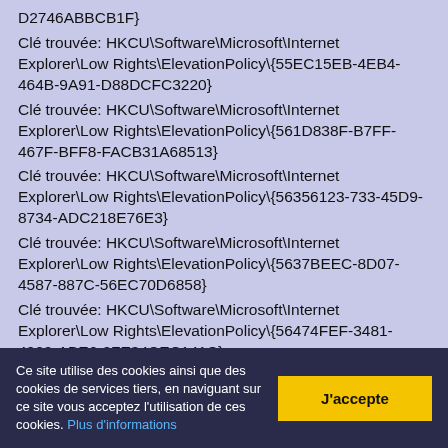D2746ABBCB1F}
Clé trouvée: HKCU\Software\Microsoft\Internet Explorer\Low Rights\ElevationPolicy\{55EC15EB-4EB4-464B-9A91-D88DCFC3220}
Clé trouvée: HKCU\Software\Microsoft\Internet Explorer\Low Rights\ElevationPolicy\{561D838F-B7FF-467F-BFF8-FACB31A68513}
Clé trouvée: HKCU\Software\Microsoft\Internet Explorer\Low Rights\ElevationPolicy\{56356123-733-45D9-8734-ADC218E76E3}
Clé trouvée: HKCU\Software\Microsoft\Internet Explorer\Low Rights\ElevationPolicy\{5637BEEC-8D07-4587-887C-56EC70D6858}
Clé trouvée: HKCU\Software\Microsoft\Internet Explorer\Low Rights\ElevationPolicy\{56474FEF-3481-4900-ABE6-2FE34CEC141C}
Clé trouvée: HKCU\Software\Microsoft\Internet Explorer\Low Rights\ElevationPolicy\{565ADAB7-F1BA-4854-A568-5CE9736F434}
Ce site utilise des cookies ainsi que des cookies de services tiers, en naviguant sur ce site vous acceptez l'utilisation de ces cookies. Plus d'informations